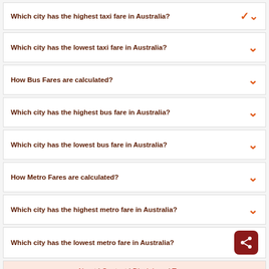Which city has the highest taxi fare in Australia?
Which city has the lowest taxi fare in Australia?
How Bus Fares are calculated?
Which city has the highest bus fare in Australia?
Which city has the lowest bus fare in Australia?
How Metro Fares are calculated?
Which city has the highest metro fare in Australia?
Which city has the lowest metro fare in Australia?
About | Contact | Disclaimer | Terms
© 2011-2017 A softUsvista venture!